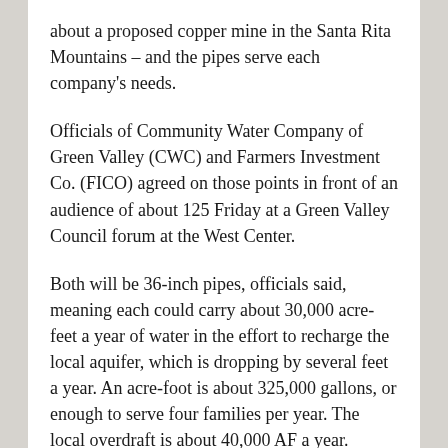about a proposed copper mine in the Santa Rita Mountains – and the pipes serve each company's needs.
Officials of Community Water Company of Green Valley (CWC) and Farmers Investment Co. (FICO) agreed on those points in front of an audience of about 125 Friday at a Green Valley Council forum at the West Center.
Both will be 36-inch pipes, officials said, meaning each could carry about 30,000 acre-feet a year of water in the effort to recharge the local aquifer, which is dropping by several feet a year. An acre-foot is about 325,000 gallons, or enough to serve four families per year. The local overdraft is about 40,000 AF a year.